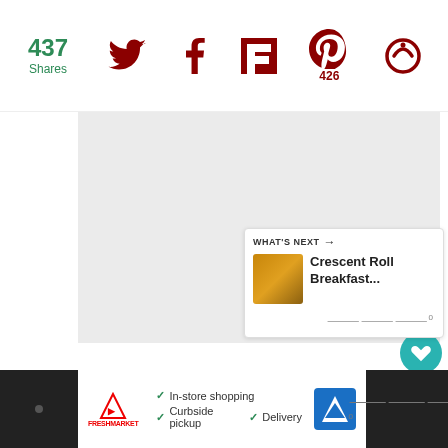437 Shares | Social share bar with Twitter, Facebook, Flipboard, Pinterest (426), and feed icon
[Figure (photo): Large light gray image placeholder area in the main content region]
[Figure (infographic): Floating heart favorite button (teal circle) and share button (white circle with share icon) on right side]
[Figure (infographic): What's Next panel showing thumbnail and text 'Crescent Roll Breakfast...' with Tastemade logo]
[Figure (screenshot): Advertisement bar at bottom: Freshmarket logo, checkmarks for In-store shopping, Curbside pickup, Delivery, navigation icon, and Tastemade watermark]